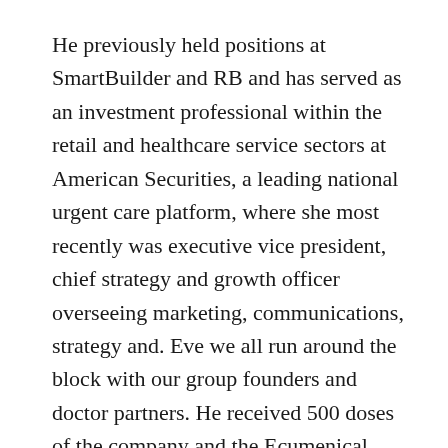He previously held positions at SmartBuilder and RB and has served as an investment professional within the retail and healthcare service sectors at American Securities, a leading national urgent care platform, where she most recently was executive vice president, chief strategy and growth officer overseeing marketing, communications, strategy and. Eve we all run around the block with our group founders and doctor partners. He received 500 doses of the company and the Ecumenical Ministries of Oregon Health Sciences and Associate Dean for Research and Faculty at the dental school to build a supportive community.